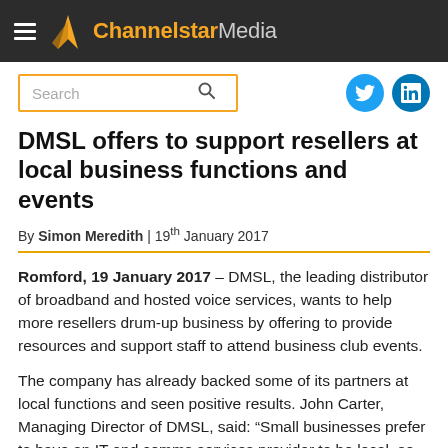ChannelstarMedia
DMSL offers to support resellers at local business functions and events
By Simon Meredith | 19th January 2017
Romford, 19 January 2017 – DMSL, the leading distributor of broadband and hosted voice services, wants to help more resellers drum-up business by offering to provide resources and support staff to attend business club events.
The company has already backed some of its partners at local functions and seen positive results. John Carter, Managing Director of DMSL, said: “Small businesses prefer to have an IT and comms services provider to be local, so they can call on them for help and advice at any